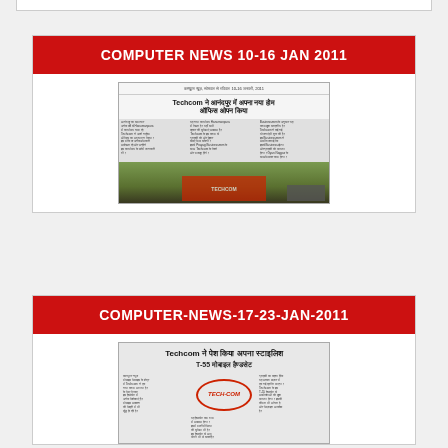[Figure (screenshot): Top partial card strip visible at top of page]
COMPUTER NEWS 10-16 JAN 2011
[Figure (photo): Newspaper clipping in Hindi about Techcom opening a new home office, with photo of Techcom products display]
COMPUTER-NEWS-17-23-JAN-2011
[Figure (photo): Newspaper clipping in Hindi about Techcom presenting T-55 mobile handset, with Tech-Com logo visible]